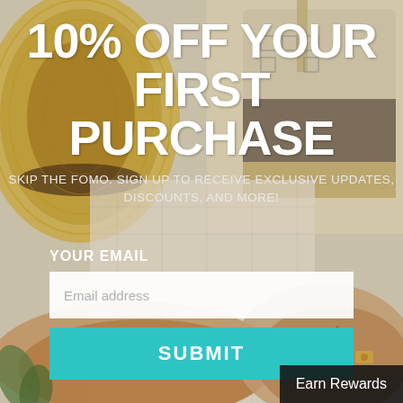[Figure (photo): Background photo showing fashion accessories flat lay including a straw hat on the left, a patterned crossbody bag in the upper right, and perforated tan sandals in the lower portion, all on a light textured surface.]
10% OFF YOUR FIRST PURCHASE
SKIP THE FOMO. SIGN UP TO RECEIVE EXCLUSIVE UPDATES, DISCOUNTS, AND MORE!
YOUR EMAIL
Email address
SUBMIT
Earn Rewards